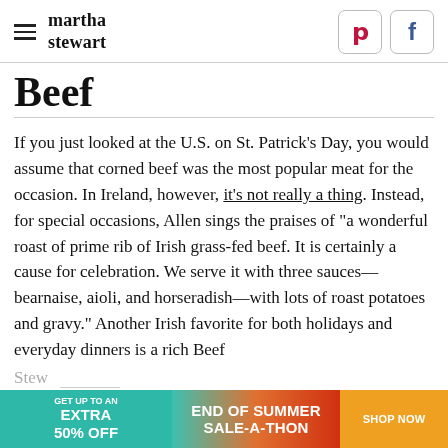martha stewart
Beef
If you just looked at the U.S. on St. Patrick's Day, you would assume that corned beef was the most popular meat for the occasion. In Ireland, however, it's not really a thing. Instead, for special occasions, Allen sings the praises of "a wonderful roast of prime rib of Irish grass-fed beef. It is certainly a cause for celebration. We serve it with three sauces—bearnaise, aioli, and horseradish—with lots of roast potatoes and gravy." Another Irish favorite for both holidays and everyday dinners is a rich Beef Stew
[Figure (other): Advertisement banner: GET UP TO AN EXTRA 50% OFF | END OF SUMMER SALE-A-THON | SHOP NOW]